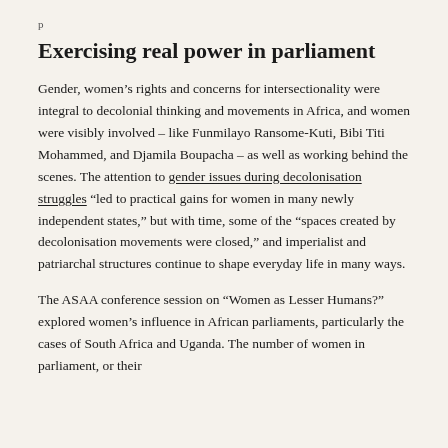p
Exercising real power in parliament
Gender, women’s rights and concerns for intersectionality were integral to decolonial thinking and movements in Africa, and women were visibly involved – like Funmilayo Ransome-Kuti, Bibi Titi Mohammed, and Djamila Boupacha – as well as working behind the scenes. The attention to gender issues during decolonisation struggles “led to practical gains for women in many newly independent states,” but with time, some of the “spaces created by decolonisation movements were closed,” and imperialist and patriarchal structures continue to shape everyday life in many ways.
The ASAA conference session on “Women as Lesser Humans?” explored women’s influence in African parliaments, particularly the cases of South Africa and Uganda. The number of women in parliament, or their